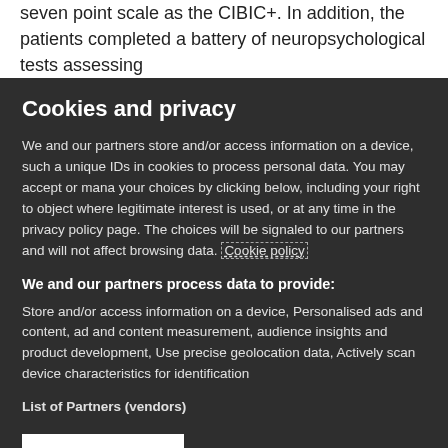seven point scale as the CIBIC+. In addition, the patients completed a battery of neuropsychological tests assessing
Cookies and privacy
We and our partners store and/or access information on a device, such as unique IDs in cookies to process personal data. You may accept or manage your choices by clicking below, including your right to object where legitimate interest is used, or at any time in the privacy policy page. These choices will be signaled to our partners and will not affect browsing data. Cookie policy
We and our partners process data to provide:
Store and/or access information on a device, Personalised ads and content, ad and content measurement, audience insights and product development, Use precise geolocation data, Actively scan device characteristics for identification
List of Partners (vendors)
I Accept